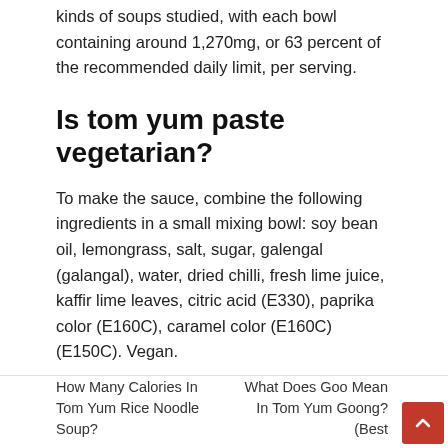kinds of soups studied, with each bowl containing around 1,270mg, or 63 percent of the recommended daily limit, per serving.
Is tom yum paste vegetarian?
To make the sauce, combine the following ingredients in a small mixing bowl: soy bean oil, lemongrass, salt, sugar, galengal (galangal), water, dried chilli, fresh lime juice, kaffir lime leaves, citric acid (E330), paprika color (E160C), caramel color (E160C) (E150C). Vegan.
How Many Calories In Tom Yum Rice Noodle Soup?	What Does Goo Mean In Tom Yum Goong? (Best